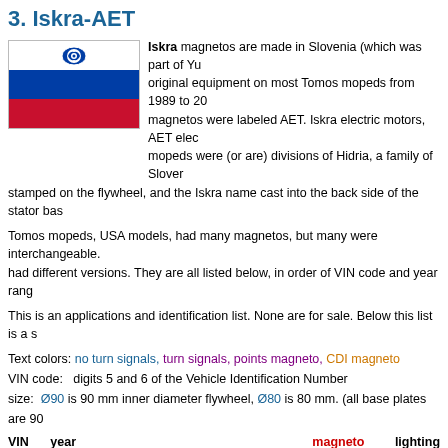3. Iskra-AET
Iskra magnetos are made in Slovenia (which was part of Yugoslavia). They were original equipment on most Tomos mopeds from 1989 to 2007, when the Iskra magnetos were labeled AET. Iskra electric motors, AET electric motors, and Tomos mopeds were (or are) divisions of Hidria, a family of Slovenian companies. AET is stamped on the flywheel, and the Iskra name cast into the back side of the stator base.
Tomos mopeds, USA models, had many magnetos, but many were interchangeable. Each model had different versions. They are all listed below, in order of VIN code and year range.
This is an applications and identification list. None are for sale. Below this list is a s
Text colors: no turn signals, turn signals, points magneto, CDI magneto
VIN code: digits 5 and 6 of the Vehicle Identification Number
size: Ø90 is 90 mm inner diameter flywheel, Ø80 is 80 mm. (all base plates are 90
| VIN code | year range | Tomos model name | magneto make model | size | wires | volts | watts | T |
| --- | --- | --- | --- | --- | --- | --- | --- | --- |
| 1975-76 Automatic A3 | (pedal) | Ducati | Ø94 | 3-wire | 6V | 40W | 2 |
| 1977-78 A3SP | (pedal) | Ducati | Ø94 | 3-wire | 6V | 40W |  |
| 1977-78 A3GM | (pedal) | Ducati | Ø94 | 3-wire | 6V | 40W |  |
| 1977-78 A3SL | (pedal) | Ducati | Ø94 | 3-wire | 6V | 40W |  |
| 1979-80 A3 Bullet SP | (pedal) | Ducati | Ø94 | 3-wire | 6V | 40W | 2 |
| 1979-80 A3 Bullet GM | (pedal) | Ducati | Ø94 | 3-wire | 6V | 40W |  |
| 1979-80 A3 Bullet SL | (pedal) | Ducati | Ø94 | 3-wire | 6V | 40W | 2 |